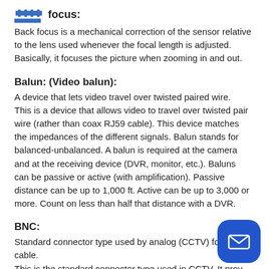Back focus:
Back focus is a mechanical correction of the sensor relative to the lens used whenever the focal length is adjusted. Basically, it focuses the picture when zooming in and out.
Balun: (Video balun):
A device that lets video travel over twisted paired wire. This is a device that allows video to travel over twisted pair wire (rather than coax RJ59 cable). This device matches the impedances of the different signals. Balun stands for balanced-unbalanced. A balun is required at the camera and at the receiving device (DVR, monitor, etc.). Baluns can be passive or active (with amplification). Passive distance can be up to 1,000 ft. Active can be up to 3,000 or more. Count on less than half that distance with a DVR.
BNC:
Standard connector type used by analog (CCTV) for coax cable.
This is the standard connector type used in CCTV. It provides easy snap-on connection for a coax cable. What BNC stands for